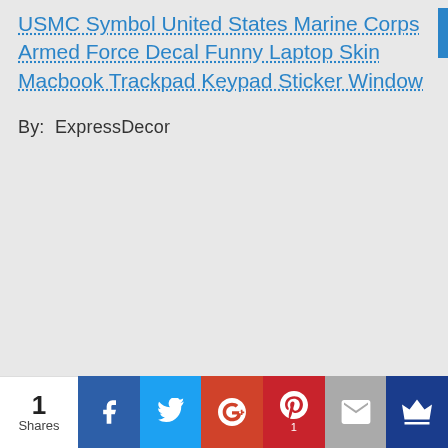USMC Symbol United States Marine Corps Armed Force Decal Funny Laptop Skin Macbook Trackpad Keypad Sticker Window
By:  ExpressDecor
[Figure (infographic): Social share bar at bottom with share count (1 Shares) and buttons for Facebook, Twitter, Google+, Pinterest (1), Email, and a crown/bookmark icon]